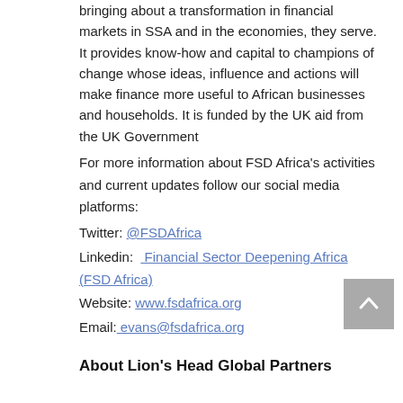bringing about a transformation in financial markets in SSA and in the economies, they serve. It provides know-how and capital to champions of change whose ideas, influence and actions will make finance more useful to African businesses and households. It is funded by the UK aid from the UK Government
For more information about FSD Africa's activities and current updates follow our social media platforms:
Twitter: @FSDAfrica
Linkedin:  Financial Sector Deepening Africa (FSD Africa)
Website: www.fsdafrica.org
Email: evans@fsdafrica.org
About Lion's Head Global Partners